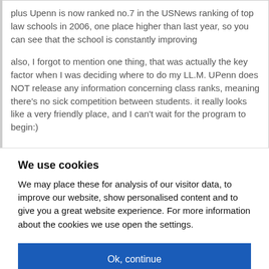plus Upenn is now ranked no.7 in the USNews ranking of top law schools in 2006, one place higher than last year, so you can see that the school is constantly improving

also, I forgot to mention one thing, that was actually the key factor when I was deciding where to do my LL.M. UPenn does NOT release any information concerning class ranks, meaning there's no sick competition between students. it really looks like a very friendly place, and I can't wait for the program to begin:)
We use cookies
We may place these for analysis of our visitor data, to improve our website, show personalised content and to give you a great website experience. For more information about the cookies we use open the settings.